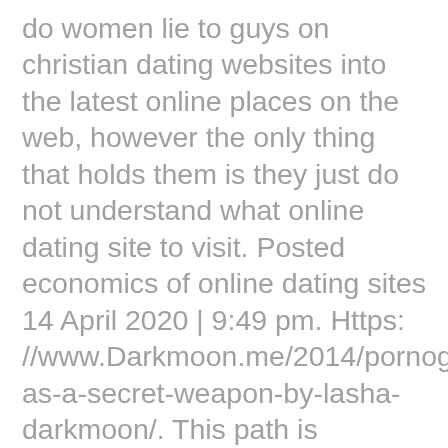do women lie to guys on christian dating websites into the latest online places on the web, however the only thing that holds them is they just do not understand what online dating site to visit. Posted economics of online dating sites 14 April 2020 | 9:49 pm. Https: //www.Darkmoon.me/2014/pornography-as-a-secret-weapon-by-lasha-darkmoon/. This path is particularly breathtaking within the wintertime, each time a blanket of white covers the bottom and a silence falls throughout the quarry that carefully reminds you it's simply both you and nature available to you. Brings the Metal to Blu-ray speed dating